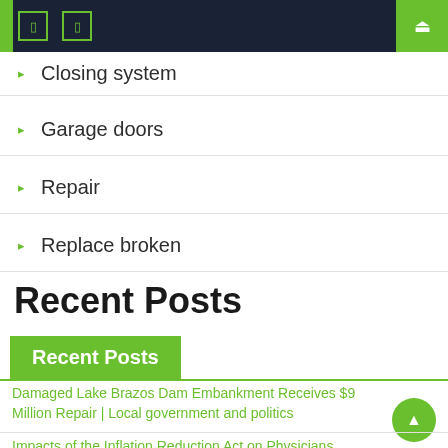Navigation bar with icons
Closing system
Garage doors
Repair
Replace broken
Recent Posts
Recent Posts
Damaged Lake Brazos Dam Embankment Receives $9 Million Repair | Local government and politics
Impacts of the Inflation Reduction Act on Physicians